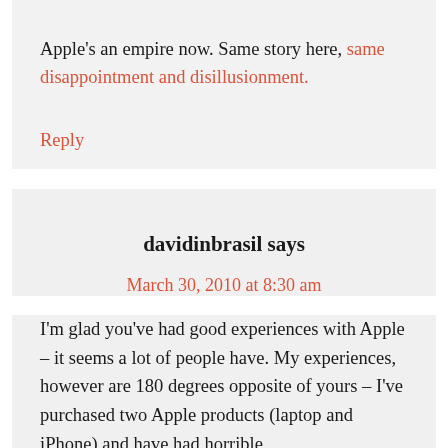Apple's an empire now. Same story here, same disappointment and disillusionment.
Reply
davidinbrasil says
March 30, 2010 at 8:30 am
I'm glad you've had good experiences with Apple – it seems a lot of people have. My experiences, however are 180 degrees opposite of yours – I've purchased two Apple products (laptop and iPhone) and have had horrible